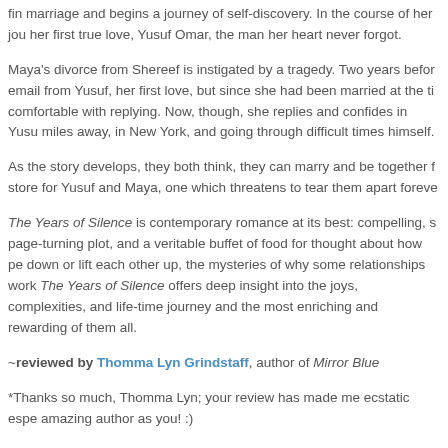The Years of Silence, told in luminous, poetic prose, is the story of how a woman who has endured hardship and pain in an abusive marriage, finds the courage to leave the marriage and begins a journey of self-discovery. In the course of her journey, she reconnects with her first true love, Yusuf Omar, the man her heart never forgot.
Maya's divorce from Shereef is instigated by a tragedy. Two years before, she had received an email from Yusuf, her first love, but since she had been married at the time, she had not felt comfortable with replying. Now, though, she replies and confides in Yusuf, who is thousands of miles away, in New York, and going through difficult times himself.
As the story develops, they both think, they can marry and be together forever. But fate has something in store for Yusuf and Maya, one which threatens to tear them apart forever.
The Years of Silence is contemporary romance at its best: compelling, sympathetic characters, a page-turning plot, and a veritable buffet of food for thought about how people in relationships can drag each other down or lift each other up, the mysteries of why some relationships work and others do not. The Years of Silence offers deep insight into the joys, complexities, and challenges of a journey that is truly a life-time journey and the most enriching and rewarding of them all.
~reviewed by Thomma Lyn Grindstaff, author of Mirror Blue
*Thanks so much, Thomma Lyn; your review has made me ecstatic especially coming from such an amazing author as you! :)
**Read more about The Years of Silence here.